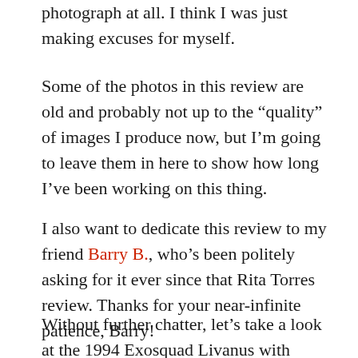photograph at all. I think I was just making excuses for myself.
Some of the photos in this review are old and probably not up to the “quality” of images I produce now, but I’m going to leave them in here to show how long I’ve been working on this thing.
I also want to dedicate this review to my friend Barry B., who’s been politely asking for it ever since that Rita Torres review. Thanks for your near-infinite patience, Barry!
Without further chatter, let’s take a look at the 1994 Exosquad Livanus with Troop Transport E-Frame.